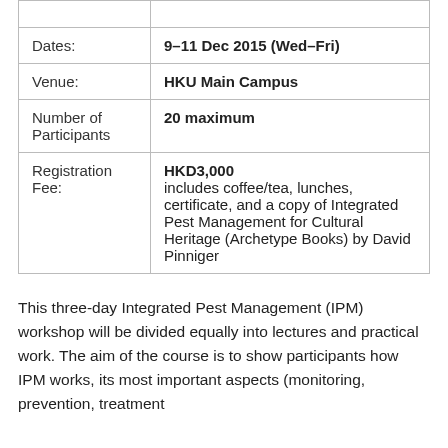|  |  |
| Dates: | 9–11 Dec 2015 (Wed–Fri) |
| Venue: | HKU Main Campus |
| Number of Participants | 20 maximum |
| Registration Fee: | HKD3,000
includes coffee/tea, lunches, certificate, and a copy of Integrated Pest Management for Cultural Heritage (Archetype Books) by David Pinniger |
This three-day Integrated Pest Management (IPM) workshop will be divided equally into lectures and practical work. The aim of the course is to show participants how IPM works, its most important aspects (monitoring, prevention, treatment